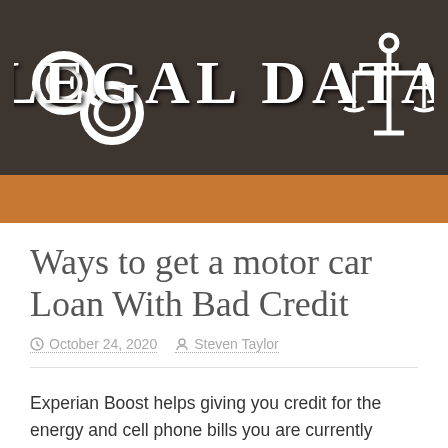[Figure (logo): Legal Data website logo with handcuffs icon on left, large styled text 'LEGAL DATA' in center, and scales of justice icon on right, on dark brown background]
Ways to get a motor car Loan With Bad Credit
October 24, 2020  Steven Taylor
Experian Boost helps giving you credit for the energy and cell phone bills you are currently spending. As yet, those re re payments didn’t favorably affect your rating.